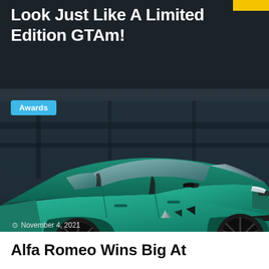Look Just Like A Limited Edition GTAm!
[Figure (photo): Teal/green Alfa Romeo Giulia GTAm sports sedan photographed from the side in a dark industrial setting, with black wheels and Alfa Romeo badge visible on the door]
Awards
November 4, 2021
Alfa Romeo Wins Big At